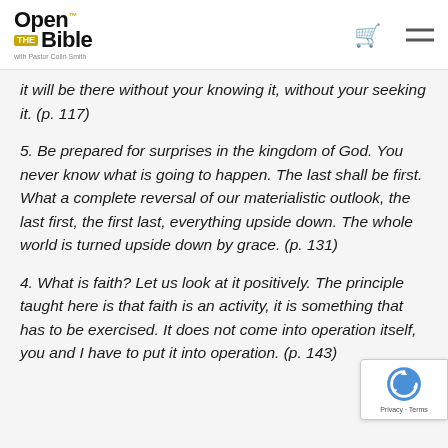Open the Bible with Pastor Colin Smith
it will be there without your knowing it, without your seeking it. (p. 117)
5. Be prepared for surprises in the kingdom of God. You never know what is going to happen. The last shall be first. What a complete reversal of our materialistic outlook, the last first, the first last, everything upside down. The whole world is turned upside down by grace. (p. 131)
4. What is faith? Let us look at it positively. The principle taught here is that faith is an activity, it is something that has to be exercised. It does not come into operation itself, you and I have to put it into operation. (p. 143)